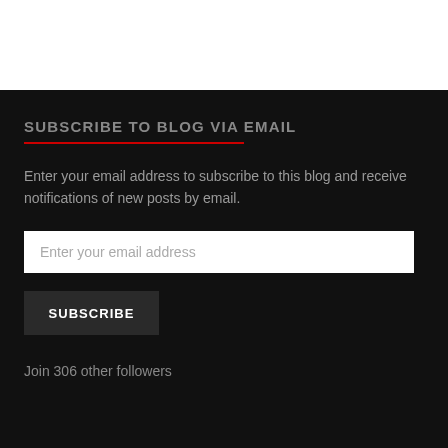SUBSCRIBE TO BLOG VIA EMAIL
Enter your email address to subscribe to this blog and receive notifications of new posts by email.
Enter your email address
SUBSCRIBE
Join 306 other followers